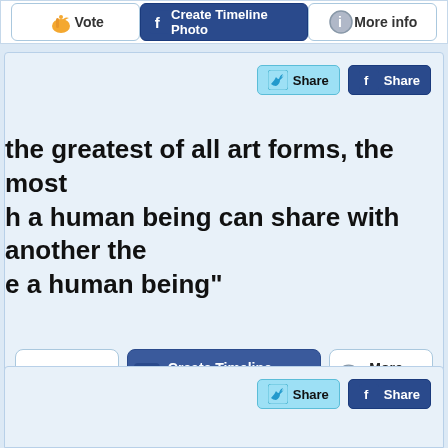[Figure (screenshot): Top partial card with Vote, Create Timeline Photo, More info buttons]
[Figure (screenshot): Main card with Twitter and Facebook Share buttons, quote text, and action buttons: Vote, Create Timeline Photo, More info]
the greatest of all art forms, the most a human being can share with another the e a human being"
[Figure (screenshot): Bottom partial card with Twitter and Facebook Share buttons]